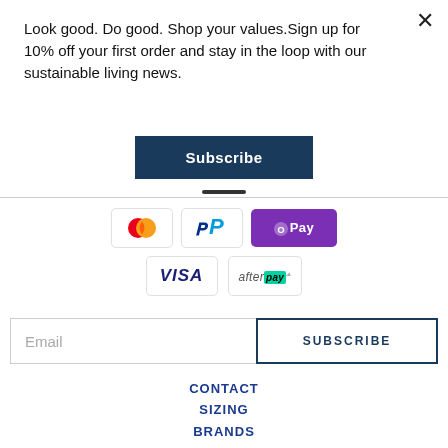Look good. Do good. Shop your values.Sign up for 10% off your first order and stay in the loop with our sustainable living news.
[Figure (other): Subscribe button — dark navy blue rectangle with white bold text 'Subscribe']
[Figure (other): Payment method icons: Mastercard, PayPal, GPay, Visa, Afterpay]
[Figure (other): Email input field with placeholder 'Email' and a SUBSCRIBE button with navy border]
CONTACT
SIZING
BRANDS
SHIPPING + RETURNS
PRIVACY
TFA MAGAZINE
DIRECTORY